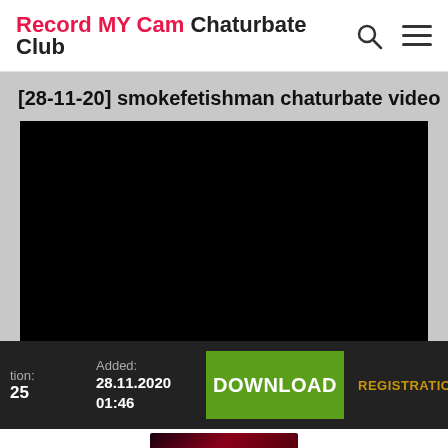Record MY Cam Chaturbate Club
[28-11-20] smokefetishman chaturbate video
[Figure (other): Black video player/thumbnail area]
Added: 28.11.2020 01:46
DOWNLOAD
REGISTRATION